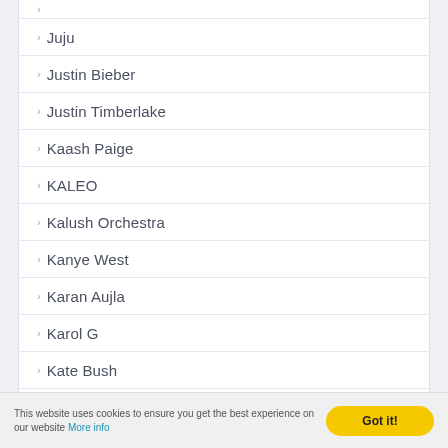Juju
Justin Bieber
Justin Timberlake
Kaash Paige
KALEO
Kalush Orchestra
Kanye West
Karan Aujla
Karol G
Kate Bush
Kendrick Lamar
Khalid
This website uses cookies to ensure you get the best experience on our website More info
Got it!